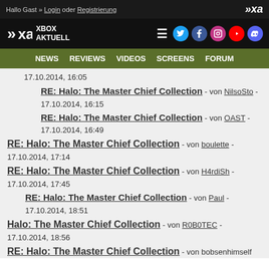Hallo Gast » Login oder Registrierung
[Figure (logo): Xbox Aktuell logo with navigation icons (Twitter, Facebook, Instagram, YouTube, Discord)]
NEWS  REVIEWS  VIDEOS  SCREENS  FORUM
RE: Halo: The Master Chief Collection - von NilsoSto - 17.10.2014, 16:15
RE: Halo: The Master Chief Collection - von OAST - 17.10.2014, 16:49
RE: Halo: The Master Chief Collection - von boulette - 17.10.2014, 17:14
RE: Halo: The Master Chief Collection - von H4rdiSh - 17.10.2014, 17:45
RE: Halo: The Master Chief Collection - von Paul - 17.10.2014, 18:51
Halo: The Master Chief Collection - von R0B0TEC - 17.10.2014, 18:56
RE: Halo: The Master Chief Collection - von bobsenhimself